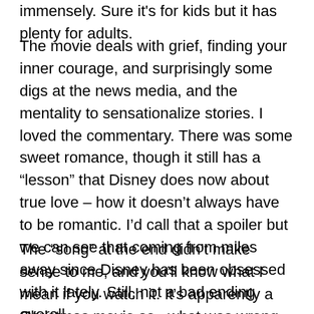immensely. Sure it's for kids but it has plenty for adults.
The movie deals with grief, finding your inner courage, and surprisingly some digs at the news media, and the mentality to sensationalize stories. I loved the commentary. There was some sweet romance, though it still has a “lesson” that Disney does now about true love – how it doesn’t always have to be romantic. I’d call that a spoiler but we can see that coming from miles away since Disney has been obsessed with it lately. Still, not a bad ending overall.
The “song” at the end didn’t make sense to me, and you’ll know what I mean if you watch it. It’s apparently a Christmas movie so...what was wrong with adding some Christmas Carols? Nothing really ruined the